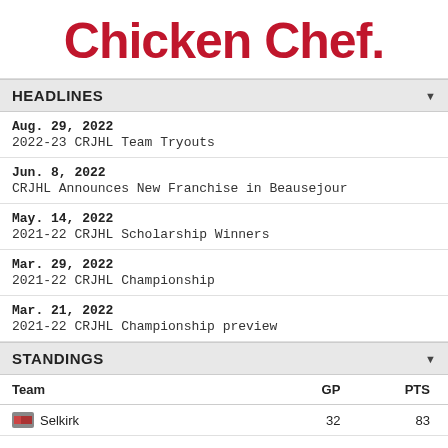[Figure (logo): Chicken Chef logo in red text]
HEADLINES
Aug. 29, 2022
2022-23 CRJHL Team Tryouts
Jun. 8, 2022
CRJHL Announces New Franchise in Beausejour
May. 14, 2022
2021-22 CRJHL Scholarship Winners
Mar. 29, 2022
2021-22 CRJHL Championship
Mar. 21, 2022
2021-22 CRJHL Championship preview
STANDINGS
| Team | GP | PTS |
| --- | --- | --- |
| Selkirk | 32 | 83 |